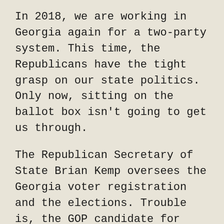In 2018, we are working in Georgia again for a two-party system. This time, the Republicans have the tight grasp on our state politics. Only now, sitting on the ballot box isn't going to get us through.
The Republican Secretary of State Brian Kemp oversees the Georgia voter registration and the elections. Trouble is, the GOP candidate for Governor is also Brian Kemp. He's running against former Georgia House Minority Leader Stacey Abrams who stands to be the first African American woman governor if elected.
My viewpoint is skewed. When Tenured Radical